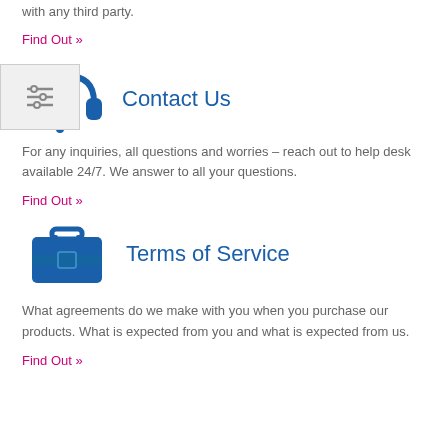with any third party.
Find Out »
[Figure (illustration): Headset / customer support icon in blue]
Contact Us
For any inquiries, all questions and worries – reach out to help desk available 24/7. We answer to all your questions.
Find Out »
[Figure (illustration): Briefcase / toolbox icon in blue]
Terms of Service
What agreements do we make with you when you purchase our products. What is expected from you and what is expected from us.
Find Out »